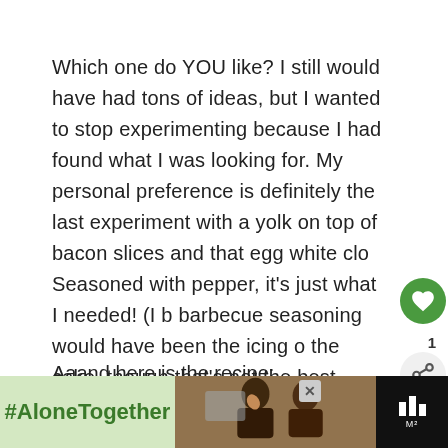Which one do YOU like? I still would have had tons of ideas, but I wanted to stop experimenting because I had found what I was looking for. My personal preference is definitely the last experiment with a yolk on top of bacon slices and that egg white clo... Seasoned with pepper, it's just what I needed! (I b... barbecue seasoning would have been the icing o... the cake, though that's not the best idiom here!)
Aaand here is the recipe:
[Figure (other): Advertisement banner showing #AloneTogether hashtag on green background with photo of people and music logo on right]